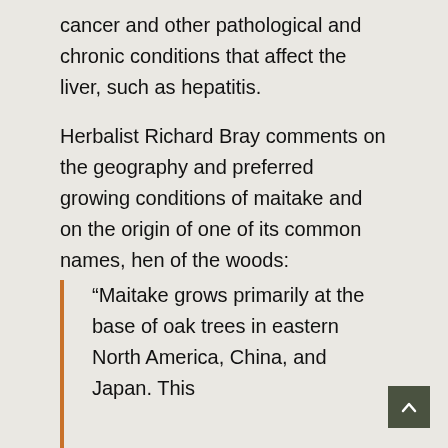cancer and other pathological and chronic conditions that affect the liver, such as hepatitis.
Herbalist Richard Bray comments on the geography and preferred growing conditions of maitake and on the origin of one of its common names, hen of the woods:
“Maitake grows primarily at the base of oak trees in eastern North America, China, and Japan. This